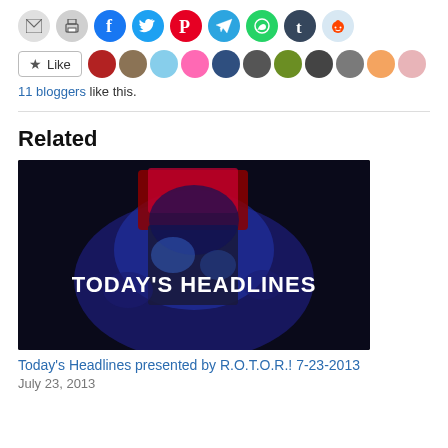[Figure (other): Row of social share icon buttons: email (grey), print (grey), Facebook (blue), Twitter (cyan), Pinterest (red), Telegram (blue), WhatsApp (green), Tumblr (dark blue), Reddit (light blue)]
[Figure (other): Like button with star icon and 11 blogger avatar thumbnails in a horizontal strip]
11 bloggers like this.
Related
[Figure (photo): Dark blue/purple movie still showing a robotic figure with 'TODAY'S HEADLINES' text overlay in white bold letters]
Today's Headlines presented by R.O.T.O.R.! 7-23-2013
July 23, 2013